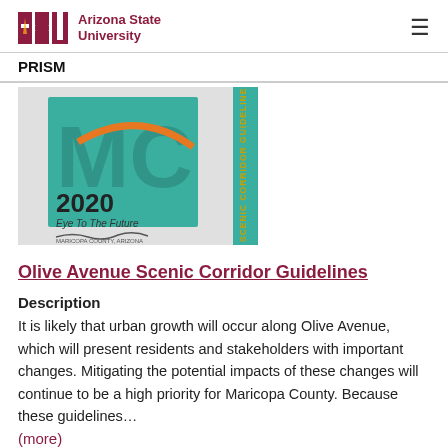ASU Arizona State University
PRISM
[Figure (photo): Cover image of a document showing 'MC 2020 Eye To The Future' with Maricopa County branding and 'SCENIC CORRIDOR GUIDELINES' text on a teal spine.]
Olive Avenue Scenic Corridor Guidelines
Description
It is likely that urban growth will occur along Olive Avenue, which will present residents and stakeholders with important changes. Mitigating the potential impacts of these changes will continue to be a high priority for Maricopa County. Because these guidelines…
(more)